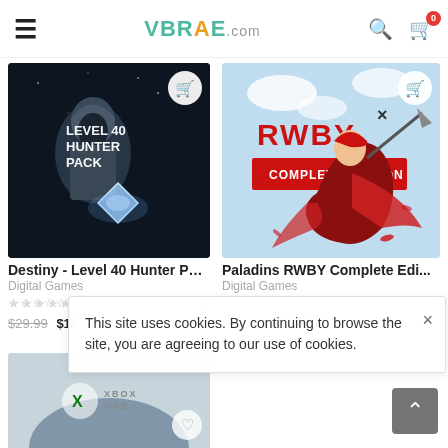[Figure (screenshot): VBRAE.com e-commerce website header with hamburger menu, logo, search icon, and cart icon with badge showing 0]
[Figure (photo): Destiny Level 40 Hunter Pack game product image showing armored character with crystal, cart button overlay]
Destiny - Level 40 Hunter Pack
Digital Games
0
$29.99  $12
[Figure (photo): Paladins RWBY Complete Edition game product image showing anime character with red cape and scythe, cart button overlay]
Paladins RWBY Complete Edi...
Digital Games
0
$24.99  $14.99
This site uses cookies. By continuing to browse the site, you are agreeing to our use of cookies.
[Figure (screenshot): Partially visible Xbox One product image at the bottom of the page]